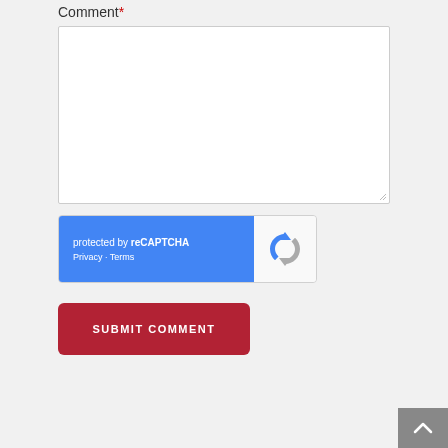Comment*
[Figure (screenshot): Empty textarea form field with white background and light gray border, with resize handle in bottom-right corner]
[Figure (screenshot): reCAPTCHA widget showing 'protected by reCAPTCHA' text with Privacy and Terms links on blue background, and Google reCAPTCHA logo on right side]
[Figure (screenshot): Red submit button with white uppercase text reading 'SUBMIT COMMENT']
[Figure (screenshot): Dark gray scroll-to-top button with upward chevron arrow in bottom-right corner of page]